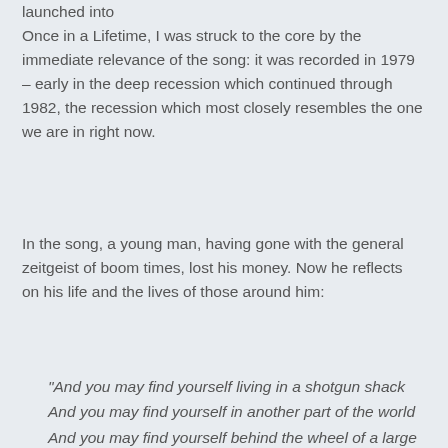launched into Once in a Lifetime, I was struck to the core by the immediate relevance of the song: it was recorded in 1979 – early in the deep recession which continued through 1982, the recession which most closely resembles the one we are in right now.
In the song, a young man, having gone with the general zeitgeist of boom times, lost his money. Now he reflects on his life and the lives of those around him:
“And you may find yourself living in a shotgun shack
And you may find yourself in another part of the world
And you may find yourself behind the wheel of a large automobile
And you may find yourself in a beautiful